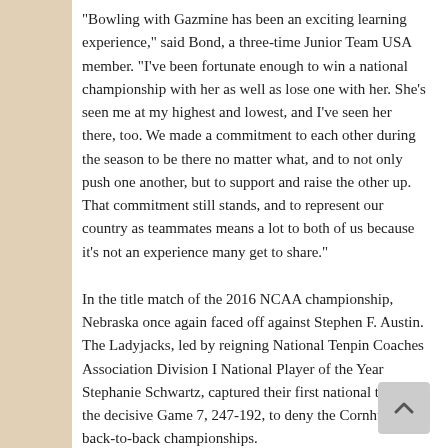"Bowling with Gazmine has been an exciting learning experience," said Bond, a three-time Junior Team USA member. "I've been fortunate enough to win a national championship with her as well as lose one with her. She's seen me at my highest and lowest, and I've seen her there, too. We made a commitment to each other during the season to be there no matter what, and to not only push one another, but to support and raise the other up. That commitment still stands, and to represent our country as teammates means a lot to both of us because it's not an experience many get to share."
In the title match of the 2016 NCAA championship, Nebraska once again faced off against Stephen F. Austin. The Ladyjacks, led by reigning National Tenpin Coaches Association Division I National Player of the Year Stephanie Schwartz, captured their first national title in the decisive Game 7, 247-192, to deny the Cornhuskers back-to-back championships.
Schwartz and Jordan Richard, who joined Schwartz as a NTCA First-Team All-American in 2016 with Arkansas State, will team with Bond and Mason in Lincoln for the World Youth Championships.
The familiarity these players have developed while competing